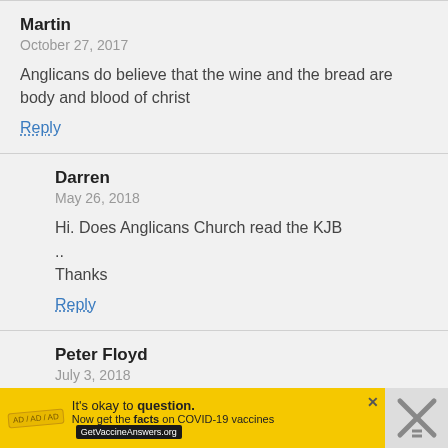Martin
October 27, 2017
Anglicans do believe that the wine and the bread are body and blood of christ
Reply
Darren
May 26, 2018
Hi. Does Anglicans Church read the KJB .. Thanks
Reply
Peter Floyd
July 3, 2018
[Figure (screenshot): Advertisement banner: yellow background with text "It's okay to question. Now get the facts on COVID-19 vaccines GetVaccineAnswers.org" with a close button and a dark right panel with an X icon.]